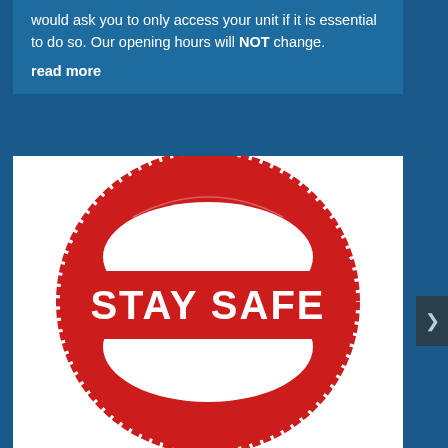would ask you to only access your unit if it is essential to do so. Our opening hours will NOT change.
read more
[Figure (illustration): A red distressed rubber stamp design showing a circular stamp with 'STAY SAFE' text in white letters across the middle, with a horizontal bar through the center, on a white background.]